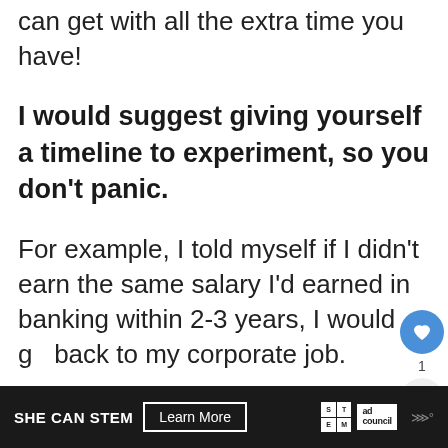can get with all the extra time you have!
I would suggest giving yourself a timeline to experiment, so you don’t panic.
For example, I told myself if I didn’t earn the same salary I’d earned in banking within 2-3 years, I would go back to my corporate job.
[Figure (other): SHE CAN STEM advertisement banner with Learn More button, STEM grid logo, and Ad Council logo]
[Figure (other): Heart (like) button showing count of 1, and a share button — floating UI elements on the right side]